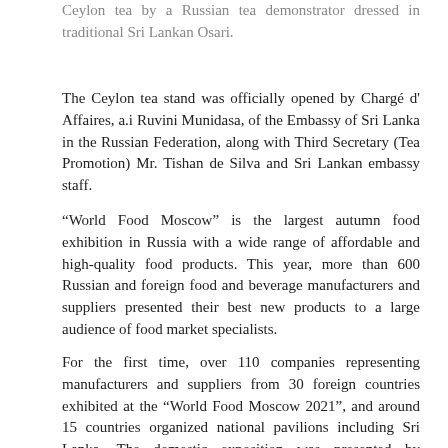Ceylon tea by a Russian tea demonstrator dressed in traditional Sri Lankan Osari.
The Ceylon tea stand was officially opened by Chargé d' Affaires, a.i Ruvini Munidasa, of the Embassy of Sri Lanka in the Russian Federation, along with Third Secretary (Tea Promotion) Mr. Tishan de Silva and Sri Lankan embassy staff.
“World Food Moscow” is the largest autumn food exhibition in Russia with a wide range of affordable and high-quality food products. This year, more than 600 Russian and foreign food and beverage manufacturers and suppliers presented their best new products to a large audience of food market specialists.
For the first time, over 110 companies representing manufacturers and suppliers from 30 foreign countries exhibited at the “World Food Moscow 2021”, and around 15 countries organized national pavilions including Sri Lanka. The domestic exposition was presented by companies from 59 regions of Russia.